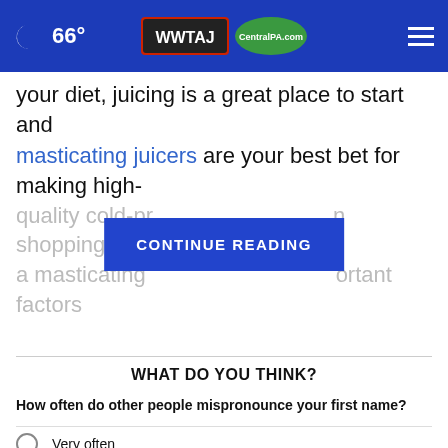66° WWTAJ CentralPA.com
your diet, juicing is a great place to start and masticating juicers are your best bet for making high-quality cold-pr... n shopping for a masticating... ortant factors
[Figure (other): CONTINUE READING button overlay on article text]
WHAT DO YOU THINK?
How often do other people mispronounce your first name?
Very often
Somewhat often
Not at all often
Other / Does not apply